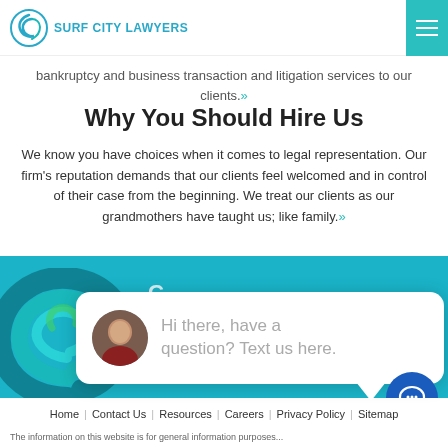SURF CITY LAWYERS
bankruptcy and business transaction and litigation services to our clients.»
Why You Should Hire Us
We know you have choices when it comes to legal representation. Our firm's reputation demands that our clients feel welcomed and in control of their case from the beginning. We treat our clients as our grandmothers have taught us; like family.»
[Figure (screenshot): Close button (pill-shaped button with text 'close')]
[Figure (screenshot): Chat widget bubble with avatar photo and text 'Hi there, have a question? Text us here.']
[Figure (illustration): Teal footer with wave/swirl logo, partial 'C' text, phone number (714) 706-1475, and chat icon button]
Home | Contact Us | Resources | Careers | Privacy Policy | Sitemap
The information on this website is for general information purposes...